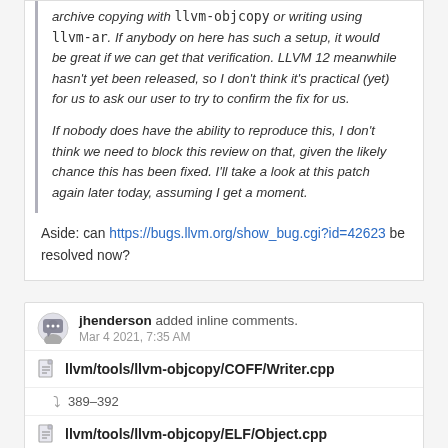archive copying with llvm-objcopy or writing using llvm-ar. If anybody on here has such a setup, it would be great if we can get that verification. LLVM 12 meanwhile hasn't yet been released, so I don't think it's practical (yet) for us to ask our user to try to confirm the fix for us.
If nobody does have the ability to reproduce this, I don't think we need to block this review on that, given the likely chance this has been fixed. I'll take a look at this patch again later today, assuming I get a moment.
Aside: can https://bugs.llvm.org/show_bug.cgi?id=42623 be resolved now?
jhenderson added inline comments. Mar 4 2021, 7:35 AM
llvm/tools/llvm-objcopy/COFF/Writer.cpp
389-392
llvm/tools/llvm-objcopy/ELF/Object.cpp